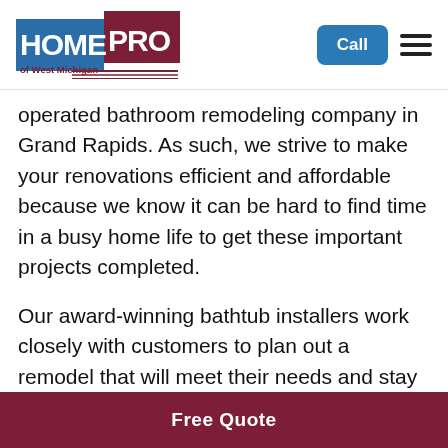HOME PRO of West Michigan — Call | Menu
operated bathroom remodeling company in Grand Rapids. As such, we strive to make your renovations efficient and affordable because we know it can be hard to find time in a busy home life to get these important projects completed.
Our award-winning bathtub installers work closely with customers to plan out a remodel that will meet their needs and stay within their budgets. It's a big part of why we choose Bath Planet products for our remodels. Their custom fabricated bath enclosures allow homeowners to build a bathtub or shower to their personal preferences. Yet, the price of installation remains affordable.
Free Quote